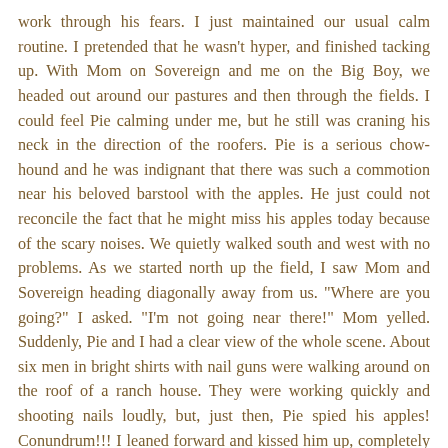work through his fears. I just maintained our usual calm routine. I pretended that he wasn't hyper, and finished tacking up. With Mom on Sovereign and me on the Big Boy, we headed out around our pastures and then through the fields. I could feel Pie calming under me, but he still was craning his neck in the direction of the roofers. Pie is a serious chow-hound and he was indignant that there was such a commotion near his beloved barstool with the apples. He just could not reconcile the fact that he might miss his apples today because of the scary noises. We quietly walked south and west with no problems. As we started north up the field, I saw Mom and Sovereign heading diagonally away from us. "Where are you going?" I asked. "I'm not going near there!" Mom yelled. Suddenly, Pie and I had a clear view of the whole scene. About six men in bright shirts with nail guns were walking around on the roof of a ranch house. They were working quickly and shooting nails loudly, but, just then, Pie spied his apples! Conundrum!!! I leaned forward and kissed him up, completely relaxing my seat and reins. He slowly and bravely walked over to his apples. Mom and Sovey joined us. The boys were marvelous!! They didn't mind one straw and now have another "scary" experience